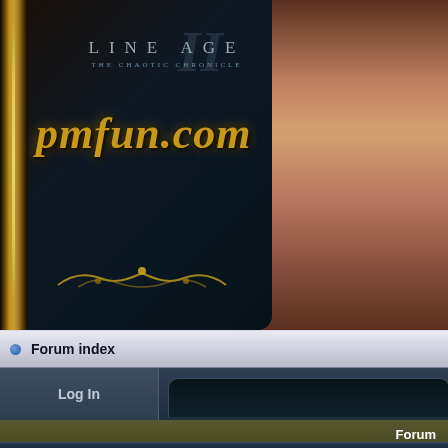[Figure (screenshot): Lineage II pmfun.com game forum website header banner with sword decoration on left, Lineage II logo at top, pmfun.com text in gold italic font, and ornamental decoration at bottom. Background shows dark blue/teal game-themed imagery on left panel and sunset/dusk sky on right.]
Forum index
Log In
| Forum |
| --- |
| Lineage 2 |
Forum
Lineage 2